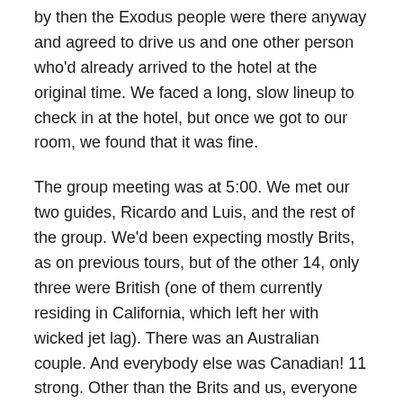by then the Exodus people were there anyway and agreed to drive us and one other person who'd already arrived to the hotel at the original time. We faced a long, slow lineup to check in at the hotel, but once we got to our room, we found that it was fine.
The group meeting was at 5:00. We met our two guides, Ricardo and Luis, and the rest of the group. We'd been expecting mostly Brits, as on previous tours, but of the other 14, only three were British (one of them currently residing in California, which left her with wicked jet lag). There was an Australian couple. And everybody else was Canadian! 11 strong. Other than the Brits and us, everyone else had been doing other touring around Portugal before joining the walking trip. (We did have an extra two days tacked onto the end.)